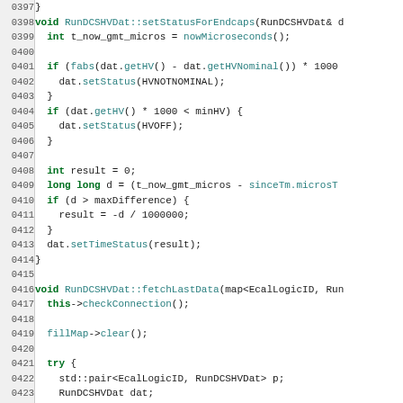[Figure (screenshot): Source code listing in C++ showing lines 0397-0426 of RunDCSHVDat class implementation, with syntax highlighting. Functions include setStatusForEndcaps and fetchLastData.]